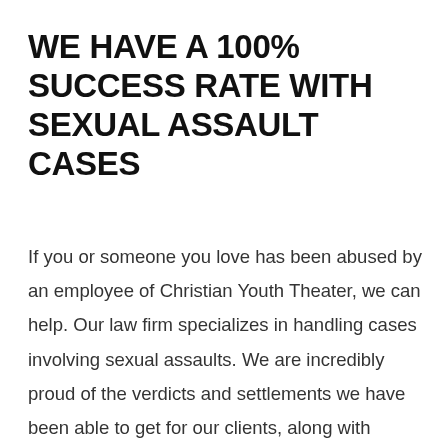WE HAVE A 100% SUCCESS RATE WITH SEXUAL ASSAULT CASES
If you or someone you love has been abused by an employee of Christian Youth Theater, we can help. Our law firm specializes in handling cases involving sexual assaults. We are incredibly proud of the verdicts and settlements we have been able to get for our clients, along with providing help at every step in order to assist victims in their healing process.